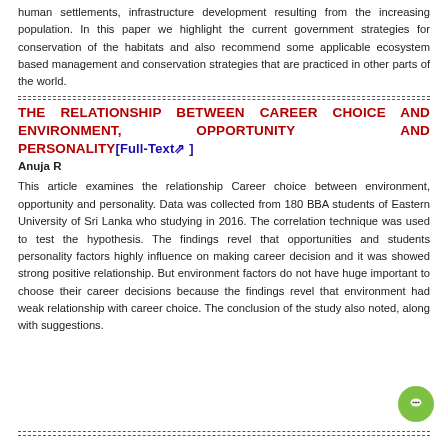human settlements, infrastructure development resulting from the increasing population. In this paper we highlight the current government strategies for conservation of the habitats and also recommend some applicable ecosystem based management and conservation strategies that are practiced in other parts of the world.
THE RELATIONSHIP BETWEEN CAREER CHOICE AND ENVIRONMENT, OPPORTUNITY AND PERSONALITY [Full-Text]
Anuja R
This article examines the relationship Career choice between environment, opportunity and personality. Data was collected from 180 BBA students of Eastern University of Sri Lanka who studying in 2016. The correlation technique was used to test the hypothesis. The findings revel that opportunities and students personality factors highly influence on making career decision and it was showed strong positive relationship. But environment factors do not have huge important to choose their career decisions because the findings revel that environment had weak relationship with career choice. The conclusion of the study also noted, along with suggestions.